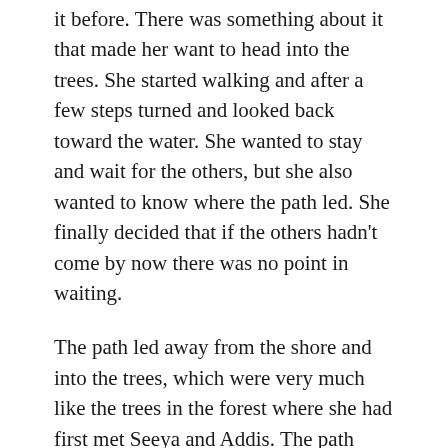it before. There was something about it that made her want to head into the trees. She started walking and after a few steps turned and looked back toward the water. She wanted to stay and wait for the others, but she also wanted to know where the path led. She finally decided that if the others hadn't come by now there was no point in waiting.
The path led away from the shore and into the trees, which were very much like the trees in the forest where she had first met Seeya and Addis. The path twisted around the trunk of a very large tree and through two large rocks. On the other side of the rocks the landscape changed suddenly to a series of large boulders like those surrounding the pod where the Brox lived. She walked through the rocks until the path turned around a large boulder and she found herself surrounded by Bulu bushes. The path led through the Bulus and soon twas barely